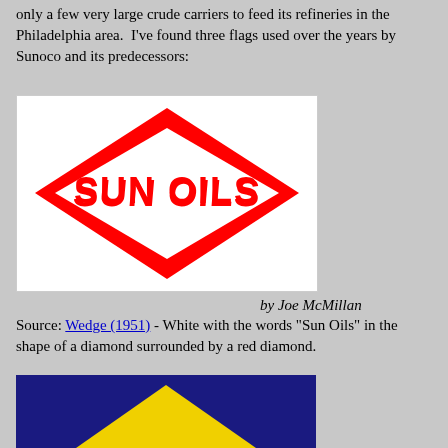only a few very large crude carriers to feed its refineries in the Philadelphia area.  I've found three flags used over the years by Sunoco and its predecessors:
[Figure (logo): Sun Oils flag: white background with red diamond outline containing the words 'SUN OILS' in red letters arranged in the shape of a diamond]
by Joe McMillan
Source: Wedge (1951) - White with the words "Sun Oils" in the shape of a diamond surrounded by a red diamond.
[Figure (illustration): Blue flag with yellow chevron/triangle shape visible at the bottom, partially cut off]